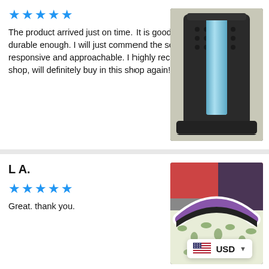[Figure (photo): Product photo of a back stretcher device with blue padding, dark plastic frame with holes, mounted against a light background]
The product arrived just on time. It is good and I guess durable enough. I will just commend the seller for being so responsive and approachable. I highly recommend this shop, will definitely buy in this shop again!
L A.
[Figure (photo): Photo of a curved back stretcher device with purple and white coloring, on a floral patterned surface, with clothing visible in background]
Great. thank you.